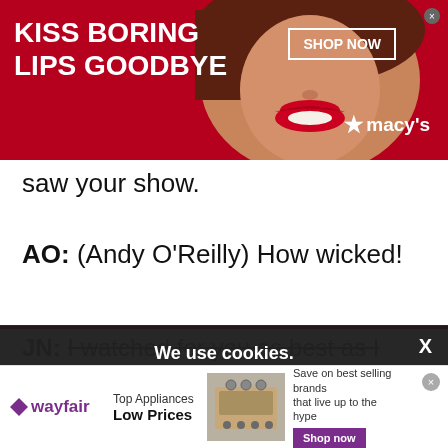[Figure (photo): Macy's advertisement banner with red background, woman's face with red lips, 'KISS BORING LIPS GOODBYE' text, 'SHOP NOW' button, and Macy's star logo]
saw your show.
AO: (Andy O'Reilly) How wicked!
JN: I watched for you as best as I could. It is hard to keep up with so many dancers onstage
[Figure (other): Cookie consent overlay: 'We use cookies. Yes, we use cookies to ensure we give you the best experience using this website. By closing this box or clicking on the continue button, you agree to our terms of use and consent to the use of']
[Figure (other): Wayfair advertisement: 'Top Appliances Low Prices — Save on best selling brands that live up to the hype. Shop now' with stove image and wayfair logo]